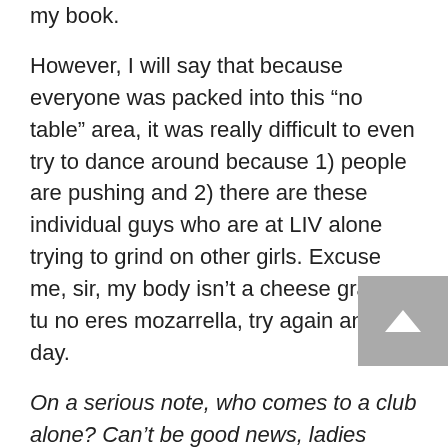my book.
However, I will say that because everyone was packed into this “no table” area, it was really difficult to even try to dance around because 1) people are pushing and 2) there are these individual guys who are at LIV alone trying to grind on other girls. Excuse me, sir, my body isn’t a cheese grater y tu no eres mozarrella, try again another day.
On a serious note, who comes to a club alone? Can’t be good news, ladies please be careful!
We left around 3 AM because after a while this facey and pushy